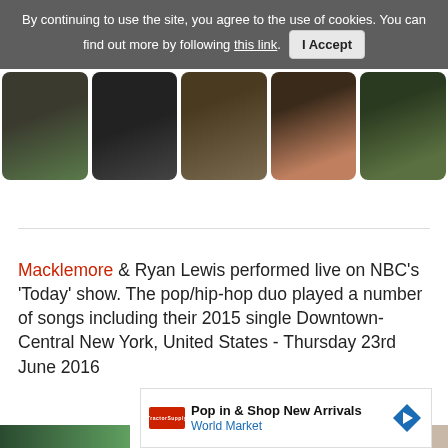By continuing to use the site, you agree to the use of cookies. You can find out more by following this link. I Accept
[Figure (photo): Strip of five photographs showing Macklemore and Ryan Lewis, men in various jackets and outfits posed against dark backgrounds]
Macklemore & Ryan Lewis performed live on NBC's 'Today' show. The pop/hip-hop duo played a number of songs including their 2015 single Downtown- Central New York, United States - Thursday 23rd June 2016
[Figure (infographic): Advertisement banner for World Market reading 'Pop in & Shop New Arrivals / World Market' with logo and navigation arrow icon]
[Figure (photo): Partial view of a bottom photo strip showing green tones on the left and beige/tan on the right]